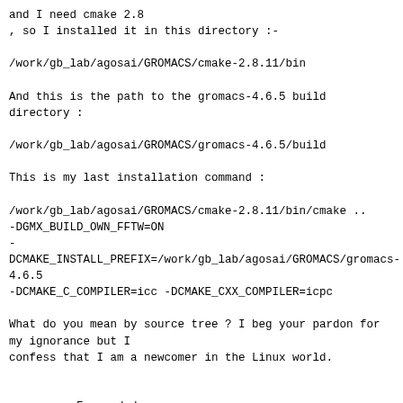and I need cmake 2.8
, so I installed it in this directory :-

/work/gb_lab/agosai/GROMACS/cmake-2.8.11/bin

And this is the path to the gromacs-4.6.5 build
directory :

/work/gb_lab/agosai/GROMACS/gromacs-4.6.5/build

This is my last installation command :

/work/gb_lab/agosai/GROMACS/cmake-2.8.11/bin/cmake ..
-DGMX_BUILD_OWN_FFTW=ON
-
DCMAKE_INSTALL_PREFIX=/work/gb_lab/agosai/GROMACS/gromacs-4.6.5
-DCMAKE_C_COMPILER=icc -DCMAKE_CXX_COMPILER=icpc

What do you mean by source tree ? I beg your pardon for
my ignorance but I
confess that I am a newcomer in the Linux world.


--------- Forwarded message ----------
From: "Szilárd Páll" <pall.szilard at gmail.com>
To: Discussion list for GROMACS users <gmx-users at gromacs.org>
Cc: Discussion list for GROMACS users <
gromacs.org gmx-users at maillist.sys.kth.se>